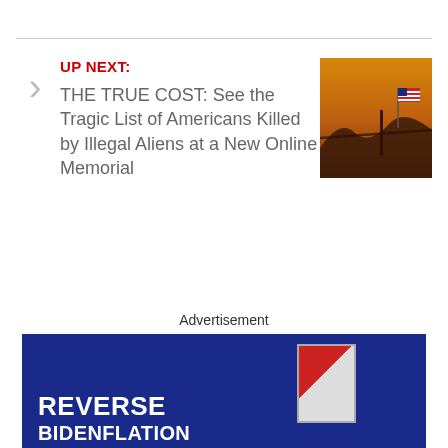UP NEXT:
THE TRUE COST: See the Tragic List of Americans Killed by Illegal Aliens at a New Online Memorial
[Figure (photo): An American flag silhouetted against a warm orange/golden sky with a border wall or fence in the foreground at dusk]
Advertisement
[Figure (photo): Advertisement banner with dark blue background showing text REVERSE BIDENFLATION with a book cover graphic]